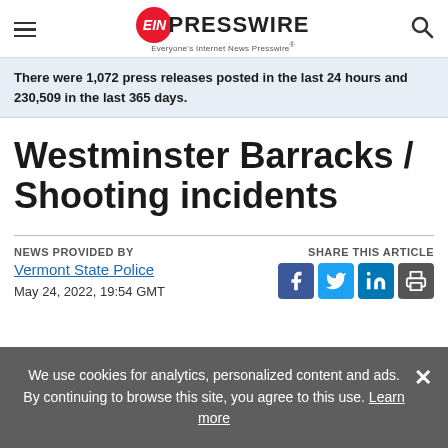EIN PRESSWIRE — Everyone's Internet News Presswire
There were 1,072 press releases posted in the last 24 hours and 230,509 in the last 365 days.
Westminster Barracks / Shooting incidents
NEWS PROVIDED BY
Vermont State Police
May 24, 2022, 19:54 GMT
SHARE THIS ARTICLE
We use cookies for analytics, personalized content and ads. By continuing to browse this site, you agree to this use. Learn more